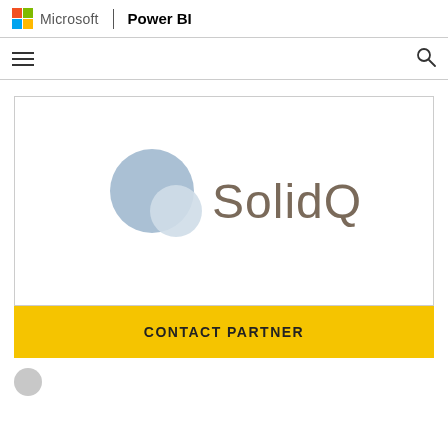Microsoft | Power BI
[Figure (logo): SolidQ logo with two overlapping circles (steel blue and light blue) and the text 'SolidQ' in dark taupe/brown]
CONTACT PARTNER